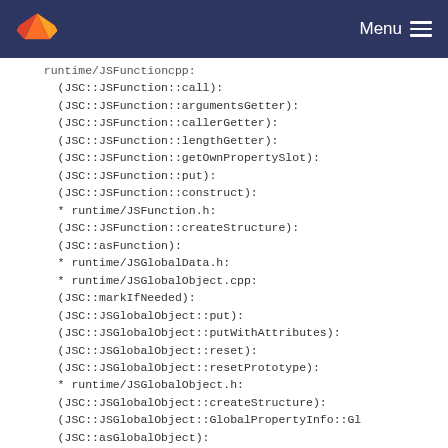Menu
runtime/JSFunctioncpp:
(JSC::JSFunction::call):
(JSC::JSFunction::argumentsGetter):
(JSC::JSFunction::callerGetter):
(JSC::JSFunction::lengthGetter):
(JSC::JSFunction::getOwnPropertySlot):
(JSC::JSFunction::put):
(JSC::JSFunction::construct):
* runtime/JSFunction.h:
(JSC::JSFunction::createStructure):
(JSC::asFunction):
* runtime/JSGlobalData.h:
* runtime/JSGlobalObject.cpp:
(JSC::markIfNeeded):
(JSC::JSGlobalObject::put):
(JSC::JSGlobalObject::putWithAttributes):
(JSC::JSGlobalObject::reset):
(JSC::JSGlobalObject::resetPrototype):
* runtime/JSGlobalObject.h:
(JSC::JSGlobalObject::createStructure):
(JSC::JSGlobalObject::GlobalPropertyInfo::Gl
(JSC::asGlobalObject):